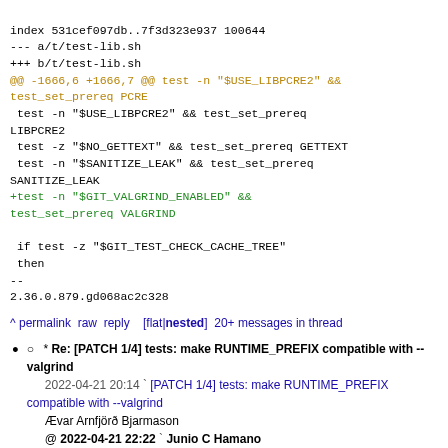index 531cef097db..7f3d323e937 100644
--- a/t/test-lib.sh
+++ b/t/test-lib.sh
@@ -1666,6 +1666,7 @@ test -n "$USE_LIBPCRE2" &&
test_set_prereq PCRE
 test -n "$USE_LIBPCRE2" && test_set_prereq
LIBPCRE2
 test -z "$NO_GETTEXT" && test_set_prereq GETTEXT
 test -n "$SANITIZE_LEAK" && test_set_prereq
SANITIZE_LEAK
+test -n "$GIT_VALGRIND_ENABLED" &&
test_set_prereq VALGRIND

 if test -z "$GIT_TEST_CHECK_CACHE_TREE"
 then
--
2.36.0.879.gd068ac2c328
^ permalink raw reply    [flat|nested] 20+ messages in thread
* Re: [PATCH 1/4] tests: make RUNTIME_PREFIX compatible with --valgrind
2022-04-21 20:14  ` [PATCH 1/4] tests: make RUNTIME_PREFIX compatible with --valgrind
Ævar Arnfjörð Bjarmason
@ 2022-04-21 22:22    ` Junio C Hamano